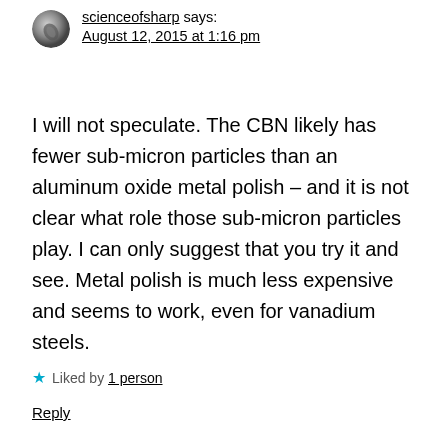scienceofsharp says: August 12, 2015 at 1:16 pm
I will not speculate. The CBN likely has fewer sub-micron particles than an aluminum oxide metal polish – and it is not clear what role those sub-micron particles play. I can only suggest that you try it and see. Metal polish is much less expensive and seems to work, even for vanadium steels.
Liked by 1 person
Reply